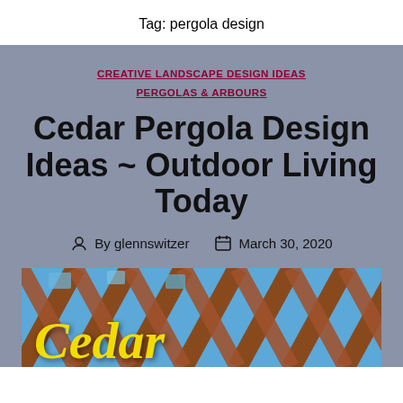Tag: pergola design
CREATIVE LANDSCAPE DESIGN IDEAS
PERGOLAS & ARBOURS
Cedar Pergola Design Ideas ~ Outdoor Living Today
By glennswitzer   March 30, 2020
[Figure (photo): Photo of cedar pergola lattice woodwork against blue sky with 'Cedar' text overlay in yellow italic font]